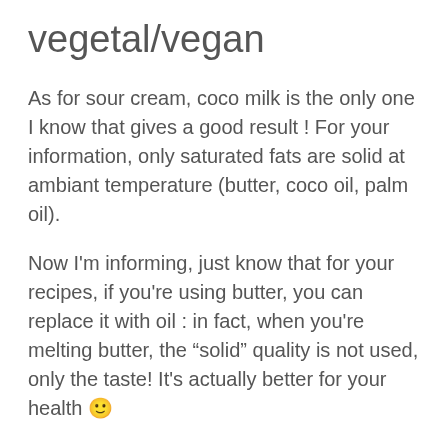vegetal/vegan
As for sour cream, coco milk is the only one I know that gives a good result ! For your information, only saturated fats are solid at ambiant temperature (butter, coco oil, palm oil).
Now I'm informing, just know that for your recipes, if you're using butter, you can replace it with oil : in fact, when you're melting butter, the “solid” quality is not used, only the taste! It's actually better for your health 🙂
Well, white butter: the steps are exactly those of the cream, and then the cream obtained is filtered and dried two days in a refrigerator.
Churning the butter is useless here. I already tried (with